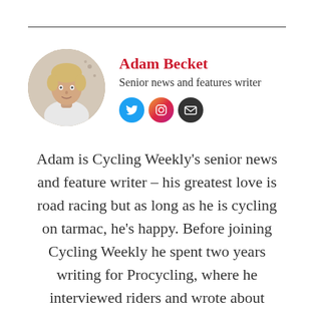[Figure (photo): Circular profile photo of Adam Becket, a young man with light hair wearing a white shirt]
Adam Becket
Senior news and features writer
[Figure (other): Social media icons: Twitter (blue), Instagram (pink/purple), Email (dark)]
Adam is Cycling Weekly's senior news and feature writer – his greatest love is road racing but as long as he is cycling on tarmac, he's happy. Before joining Cycling Weekly he spent two years writing for Procycling, where he interviewed riders and wrote about